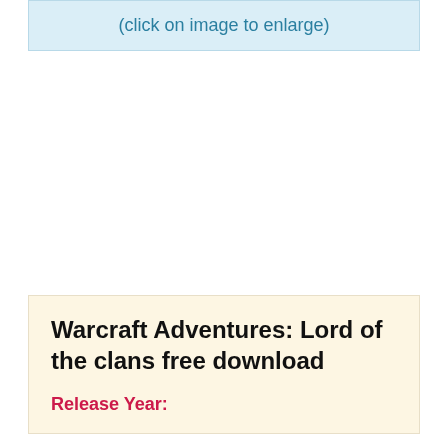(click on image to enlarge)
Warcraft Adventures: Lord of the clans free download
Release Year: